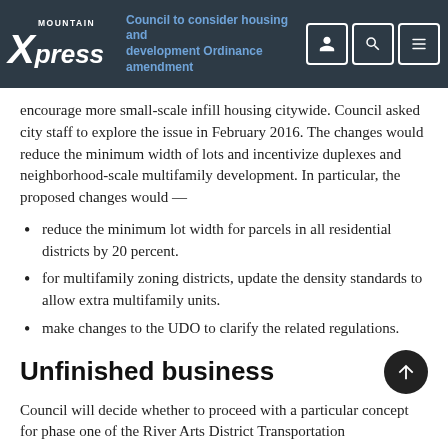Mountain Xpress — Council to consider housing and development ordinance amendment
encourage more small-scale infill housing citywide. Council asked city staff to explore the issue in February 2016. The changes would reduce the minimum width of lots and incentivize duplexes and neighborhood-scale multifamily development. In particular, the proposed changes would —
reduce the minimum lot width for parcels in all residential districts by 20 percent.
for multifamily zoning districts, update the density standards to allow extra multifamily units.
make changes to the UDO to clarify the related regulations.
Unfinished business
Council will decide whether to proceed with a particular concept for phase one of the River Arts District Transportation Improvement Project that involves